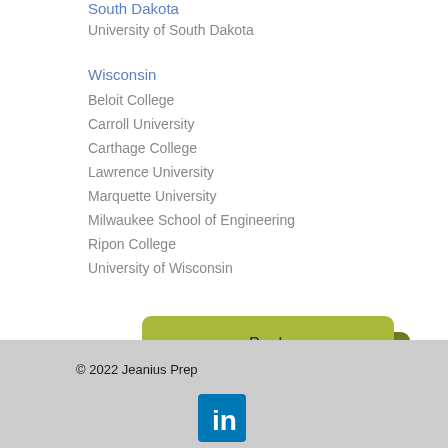South Dakota
University of South Dakota
Wisconsin
Beloit College
Carroll University
Carthage College
Lawrence University
Marquette University
Milwaukee School of Engineering
Ripon College
University of Wisconsin
[Figure (other): Back button — olive/yellow-green rounded rectangle button with shadow]
© 2022 Jeanius Prep
[Figure (logo): LinkedIn logo icon — white 'in' on blue square background]